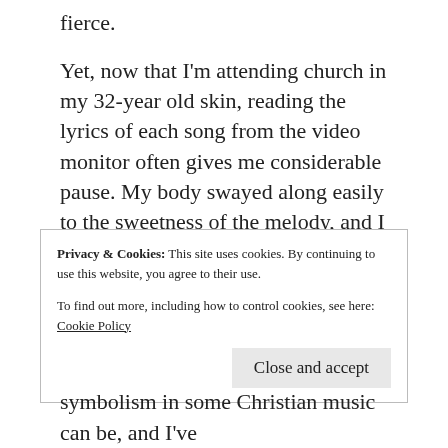fierce.
Yet, now that I'm attending church in my 32-year old skin, reading the lyrics of each song from the video monitor often gives me considerable pause. My body swayed along easily to the sweetness of the melody, and I probably could have danced about wildly to a wordless song of praise. Yet, singing along with the words I was reading felt pretty incongruous with my new way of relating to God.
Privacy & Cookies: This site uses cookies. By continuing to use this website, you agree to their use.
To find out more, including how to control cookies, see here: Cookie Policy
Close and accept
symbolism in some Christian music can be, and I've